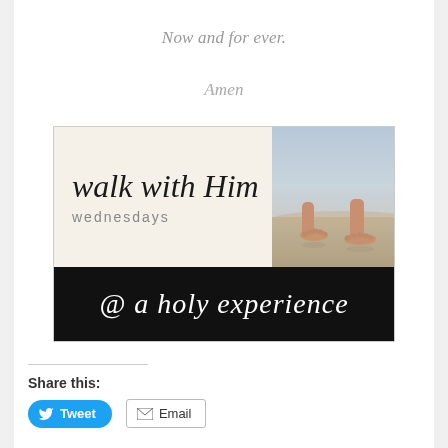Now and for ever.
Amen
[Figure (illustration): Walk with Him Wednesdays @ a holy experience banner. Top half has cream background with cursive 'walk with Him' text and 'wednesdays' below, alongside a photo of bare feet on wet sand/beach. Bottom half is black with cursive white text '@ a holy experience'.]
Share this:
Tweet
Email
Loading...